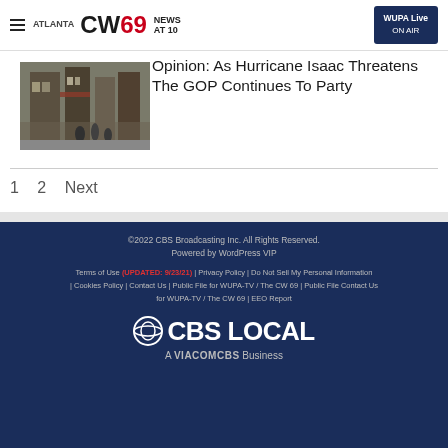ATLANTA CW 69 NEWS AT 10 | WUPA Live ON AIR
[Figure (photo): Street scene photo showing a building facade with people walking]
Opinion: As Hurricane Isaac Threatens The GOP Continues To Party
1  2  Next
©2022 CBS Broadcasting Inc. All Rights Reserved. Powered by WordPress VIP | Terms of Use UPDATED: 9/23/21 | Privacy Policy | Do Not Sell My Personal Information | Cookies Policy | Contact Us | Public File for WUPA-TV / The CW 69 | Public File Contact Us for WUPA-TV / The CW 69 | EEO Report | CBS LOCAL A VIACOMCBS Business